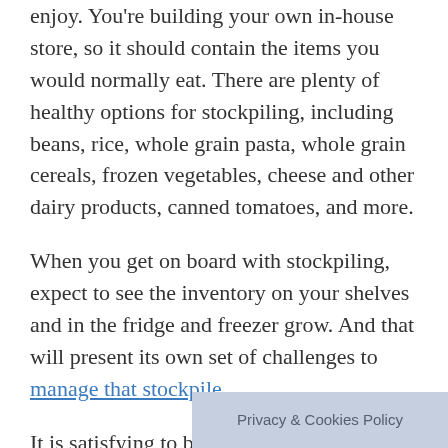enjoy. You're building your own in-house store, so it should contain the items you would normally eat. There are plenty of healthy options for stockpiling, including beans, rice, whole grain pasta, whole grain cereals, frozen vegetables, cheese and other dairy products, canned tomatoes, and more.
When you get on board with stockpiling, expect to see the inventory on your shelves and in the fridge and freezer grow. And that will present its own set of challenges to manage that stockpile.
It is satisfying to be prepared for the future, no longer living (read: shopping) for only one week at a time.
Privacy & Cookies Policy